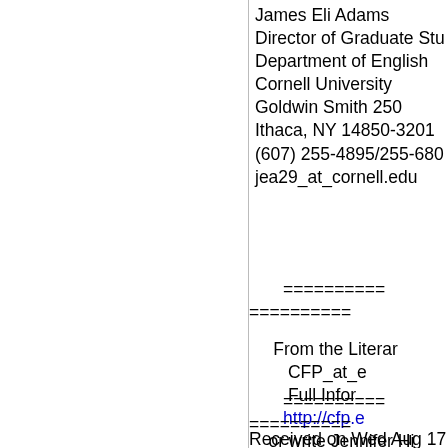James Eli Adams
Director of Graduate Stu
Department of English
Cornell University
Goldwin Smith 250
Ithaca, NY 14850-3201
(607) 255-4895/255-680
jea29_at_cornell.edu
======================
==========
From the Literar
CFP_at_e
Full Infor
http://cfp.e
or write Jennifer Hi
======================
==========
Received on Wed Aug 17